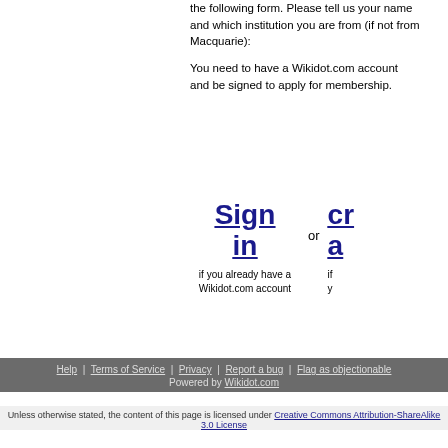the following form. Please tell us your name and which institution you are from (if not from Macquarie):
You need to have a Wikidot.com account and be signed to apply for membership.
Sign in
if you already have a Wikidot.com account
or
Help | Terms of Service | Privacy | Report a bug | Flag as objectionable
Powered by Wikidot.com
Unless otherwise stated, the content of this page is licensed under Creative Commons Attribution-ShareAlike 3.0 License